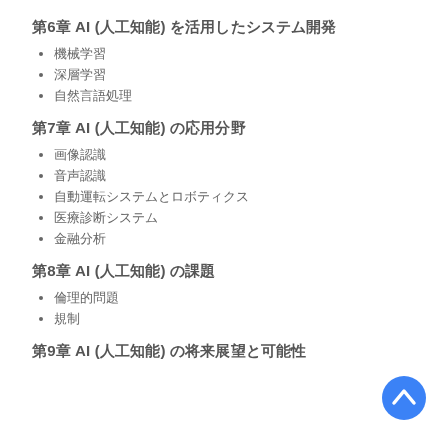第6章 AI (人工知能) を活用したシステム開発
機械学習
深層学習
自然言語処理
第7章 AI (人工知能) の応用分野
画像認識
音声認識
自動運転システムとロボティクス
医療診断システム
金融分析
第8章 AI (人工知能) の課題
倫理的問題
規制
第9章 AI (人工知能) の将来展望と可能性